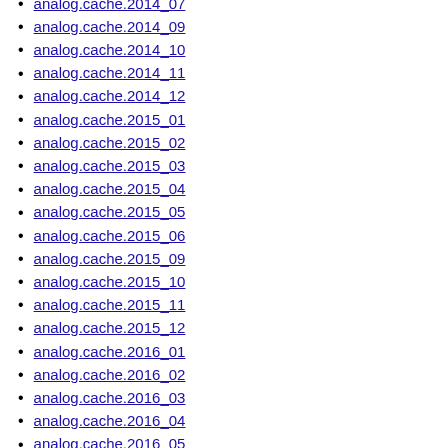analog.cache.2014_07
analog.cache.2014_09
analog.cache.2014_10
analog.cache.2014_11
analog.cache.2014_12
analog.cache.2015_01
analog.cache.2015_02
analog.cache.2015_03
analog.cache.2015_04
analog.cache.2015_05
analog.cache.2015_06
analog.cache.2015_09
analog.cache.2015_10
analog.cache.2015_11
analog.cache.2015_12
analog.cache.2016_01
analog.cache.2016_02
analog.cache.2016_03
analog.cache.2016_04
analog.cache.2016_05
analog.cache.2016_06
analog.cache.2016_09
analog.cache.2016_10
analog.cache.2016_11
analog.cache.2016_12